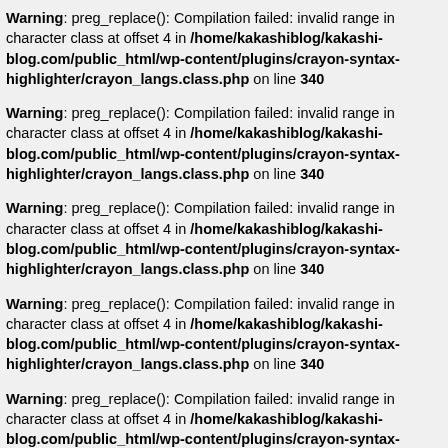Warning: preg_replace(): Compilation failed: invalid range in character class at offset 4 in /home/kakashiblog/kakashi-blog.com/public_html/wp-content/plugins/crayon-syntax-highlighter/crayon_langs.class.php on line 340
Warning: preg_replace(): Compilation failed: invalid range in character class at offset 4 in /home/kakashiblog/kakashi-blog.com/public_html/wp-content/plugins/crayon-syntax-highlighter/crayon_langs.class.php on line 340
Warning: preg_replace(): Compilation failed: invalid range in character class at offset 4 in /home/kakashiblog/kakashi-blog.com/public_html/wp-content/plugins/crayon-syntax-highlighter/crayon_langs.class.php on line 340
Warning: preg_replace(): Compilation failed: invalid range in character class at offset 4 in /home/kakashiblog/kakashi-blog.com/public_html/wp-content/plugins/crayon-syntax-highlighter/crayon_langs.class.php on line 340
Warning: preg_replace(): Compilation failed: invalid range in character class at offset 4 in /home/kakashiblog/kakashi-blog.com/public_html/wp-content/plugins/crayon-syntax-highlighter/crayon_langs.class.php on line 340